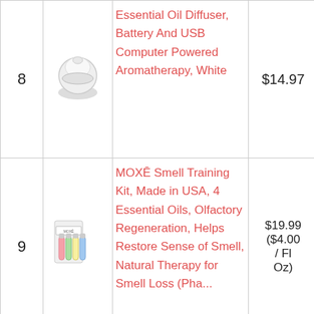| # | Image | Product Name | Price | Buy |
| --- | --- | --- | --- | --- |
| 8 | [diffuser image] | Essential Oil Diffuser, Battery And USB Computer Powered Aromatherapy, White | $14.97 | [Amazon button] |
| 9 | [moxe image] | MOXĒ Smell Training Kit, Made in USA, 4 Essential Oils, Olfactory Regeneration, Helps Restore Sense of Smell, Natural Therapy for Smell Loss (Phase 1)... | $19.99 ($4.00 / Fl Oz) | [Amazon button] |